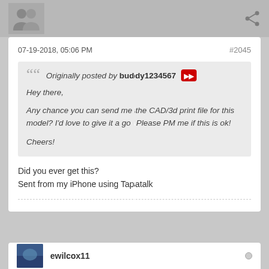[Figure (other): User avatar placeholder image at top left, share icon at top right]
07-19-2018, 05:06 PM
#2045
Originally posted by buddy1234567 [fast-forward button icon]
Hey there,

Any chance you can send me the CAD/3d print file for this model? I'd love to give it a go  Please PM me if this is ok!

Cheers!
Did you ever get this?
Sent from my iPhone using Tapatalk
ewilcox11